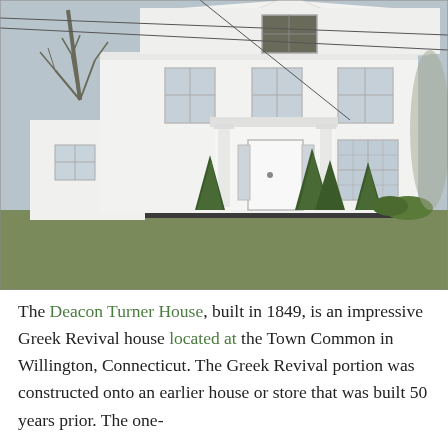[Figure (photo): Exterior photograph of the Deacon Turner House, a white two-story Greek Revival building with a triangular pediment, central entrance with columns and pilasters, multiple windows, and evergreen shrubs in front. Taken on an overcast winter day with bare trees visible on the left and misty background on the right.]
The Deacon Turner House, built in 1849, is an impressive Greek Revival house located at the Town Common in Willington, Connecticut. The Greek Revival portion was constructed onto an earlier house or store that was built 50 years prior. The one-